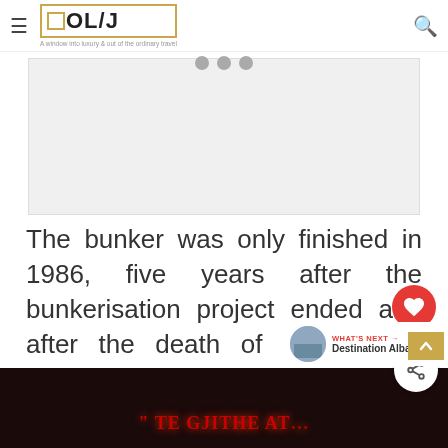OL/J — A window into luxury & out of the ordinary travel
[Figure (photo): Placeholder image area (light gray rectangle)]
The bunker was only finished in 1986, five years after the bunkerisation project ended and after the death of both Enver Hoxha and the Prime Minister.
[Figure (photo): Dark photo with red illuminated text reading " TE GJITHE AT..." in a red neon or LED sign style]